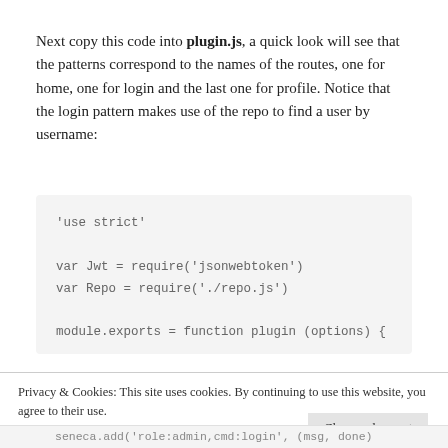Next copy this code into plugin.js, a quick look will see that the patterns correspond to the names of the routes, one for home, one for login and the last one for profile. Notice that the login pattern makes use of the repo to find a user by username:
'use strict'

var Jwt = require('jsonwebtoken')
var Repo = require('./repo.js')

module.exports = function plugin (options) {
Privacy & Cookies: This site uses cookies. By continuing to use this website, you agree to their use.
To find out more, including how to control cookies, see here: Cookie Policy
seneca.add('role:admin,cmd:login', (msg, done)